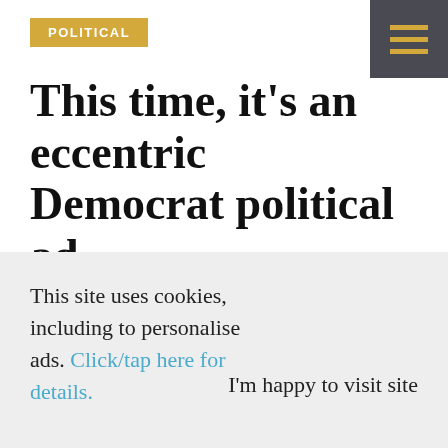POLITICAL
This time, it’s an eccentric Democrat political ad
MAY 20, 2014 – 12:25 PM
This site uses cookies, including to personalise ads. Click/tap here for details.
I’m happy to visit site